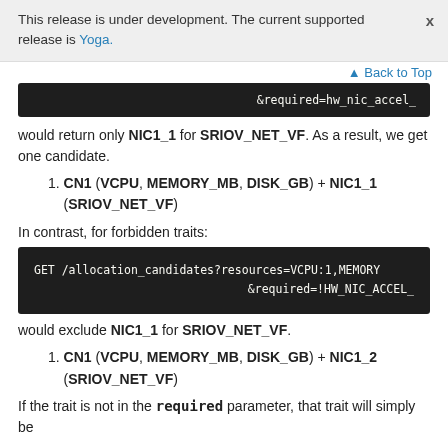This release is under development. The current supported release is Yoga.
[Figure (screenshot): Code block showing partial text: &required=hw_nic_accel_...]
would return only NIC1_1 for SRIOV_NET_VF. As a result, we get one candidate.
1. CN1 (VCPU, MEMORY_MB, DISK_GB) + NIC1_1 (SRIOV_NET_VF)
In contrast, for forbidden traits:
[Figure (screenshot): Code block: GET /allocation_candidates?resources=VCPU:1,MEMORY... &required=!HW_NIC_ACCEL_...]
would exclude NIC1_1 for SRIOV_NET_VF.
1. CN1 (VCPU, MEMORY_MB, DISK_GB) + NIC1_2 (SRIOV_NET_VF)
If the trait is not in the required parameter, that trait will simply be